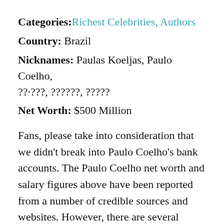Categories: Richest Celebrities, Authors
Country: Brazil
Nicknames: Paulas Koeljas, Paulo Coelho, ??·???, ??????, ?????
Net Worth: $500 Million
Fans, please take into consideration that we didn't break into Paulo Coelho's bank accounts. The Paulo Coelho net worth and salary figures above have been reported from a number of credible sources and websites. However, there are several factors that affect a celebrity's net worth, such as taxes, management fees, investment gains or losses, marriage,